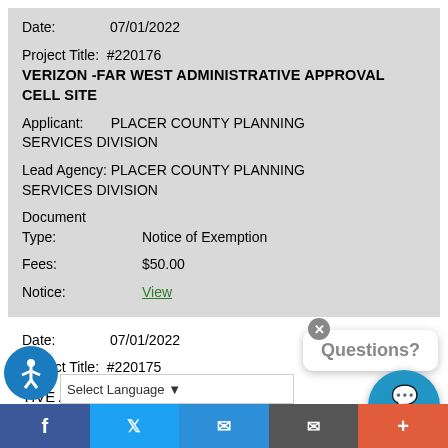Date: 07/01/2022
Project Title: #220176
VERIZON -FAR WEST ADMINISTRATIVE APPROVAL CELL SITE
Applicant: PLACER COUNTY PLANNING SERVICES DIVISION
Lead Agency: PLACER COUNTY PLANNING SERVICES DIVISION
Document
Type: Notice of Exemption
Fees: $50.00
Notice: View
Date: 07/01/2022
Project Title: #220175
TIVE APPROVAL- MOONSHINE